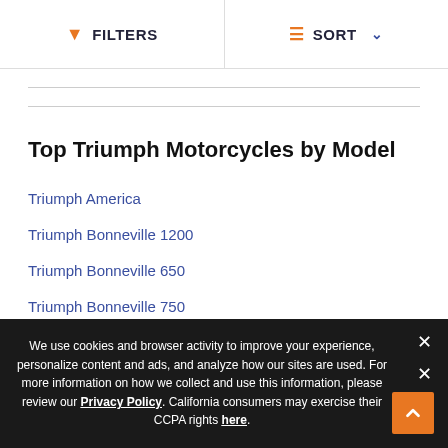FILTERS  SORT
Top Triumph Motorcycles by Model
Triumph America
Triumph Bonneville 1200
Triumph Bonneville 650
Triumph Bonneville 750
Triumph Bonneville 900
Triumph Daytona 675
We use cookies and browser activity to improve your experience, personalize content and ads, and analyze how our sites are used. For more information on how we collect and use this information, please review our Privacy Policy. California consumers may exercise their CCPA rights here.